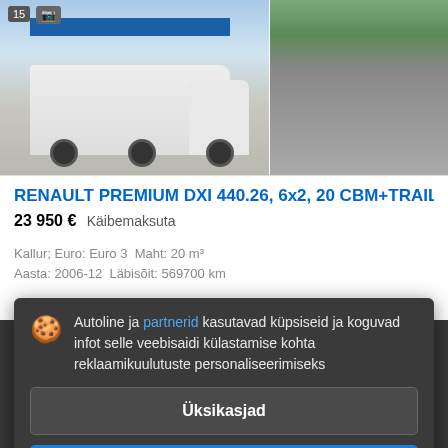[Figure (photo): Renault Premium truck with trailer, white cab and blue stripe, photographed in a yard]
[Figure (photo): Aerial view of a truck lot with many trucks and trailers parked in rows]
RENAULT PREMIUM DXI 440.26, 6x2, 20 CBM+TRAILER ...
23 950 €  Käibemaksuta
Kallur; Euro: Euro 3  Maht: 20 m³
Aasta: 2006-12  Läbisõit: 569700 km
Autoline ja partnerid kasutavad küpsiseid ja koguvad infot selle veebisaidi külastamise kohta reklaamikuulutuste personaliseerimiseks
Üksikasjad
Nõustu ja sulge